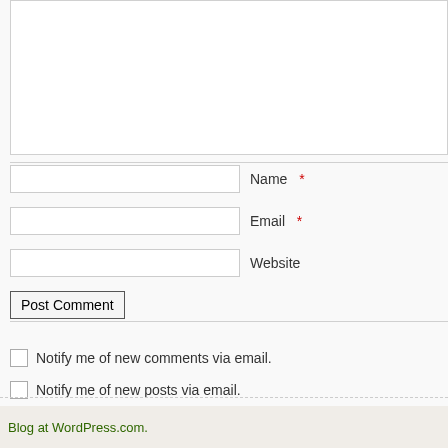[Figure (screenshot): Comment form textarea (top portion, partially visible, white background with light border)]
Name *
Email *
Website
Post Comment
Notify me of new comments via email.
Notify me of new posts via email.
Blog at WordPress.com.